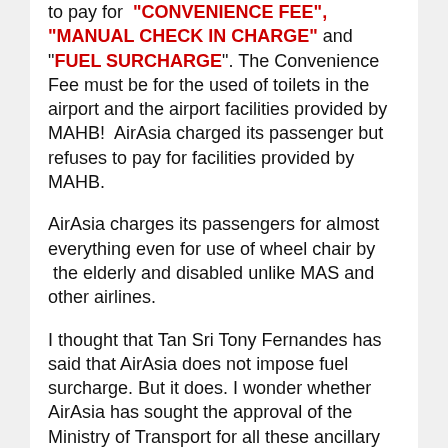to pay for "CONVENIENCE FEE", "MANUAL CHECK IN CHARGE" and "FUEL SURCHARGE". The Convenience Fee must be for the used of toilets in the airport and the airport facilities provided by MAHB!  AirAsia charged its passenger but refuses to pay for facilities provided by MAHB.
AirAsia charges its passengers for almost everything even for use of wheel chair by  the elderly and disabled unlike MAS and other airlines.
I thought that Tan Sri Tony Fernandes has said that AirAsia does not impose fuel surcharge. But it does. I wonder whether AirAsia has sought the approval of the Ministry of Transport for all these ancillary charges imposed. Most probably not.
I will definitely bring the above unreasonable charges to the attention of Parliament so that the Minister of Transport can take the appropriate actions to stop the unfair practices of AirAsia from imposing unreasonable charges for basic facilities in